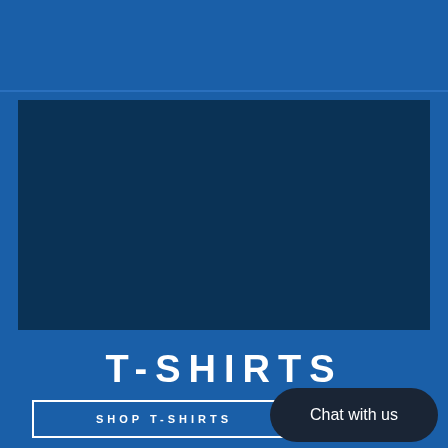[Figure (illustration): Dark navy blue rectangular image placeholder area on a royal blue background]
T-SHIRTS
SHOP T-SHIRTS
Chat with us